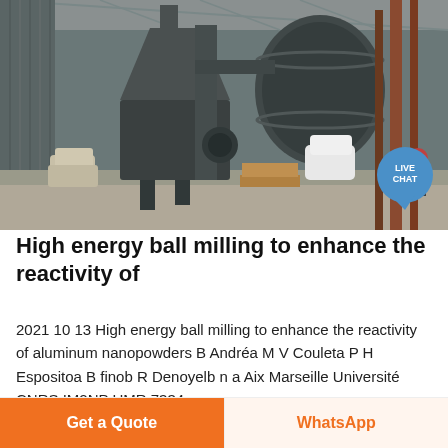[Figure (photo): Industrial ball milling machinery inside a covered facility. Large gray hopper/cyclone dust collector, cylindrical mill drum, piping, and structural steel components visible. Workers or materials partially visible in background.]
High energy ball milling to enhance the reactivity of
2021 10 13 High energy ball milling to enhance the reactivity of aluminum nanopowders B Andréa M V Couleta P H Espositoa B finob R Denoyelb n a Aix Marseille Université CNRS IM2NP UMR 7334